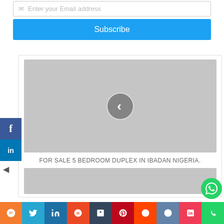Enter your Email address
Subscribe
[Figure (screenshot): Image placeholder with a left navigation arrow circle button, grey background]
FOR SALE 5 BEDROOM DUPLEX IN IBADAN NIGERIA.
[Figure (photo): Grey image placeholder at bottom of card]
[Figure (infographic): Bottom social sharing bar with icons: chat, twitter, linkedin, stumbleupon, tumblr, pinterest, reddit, vk, pocket, whatsapp]